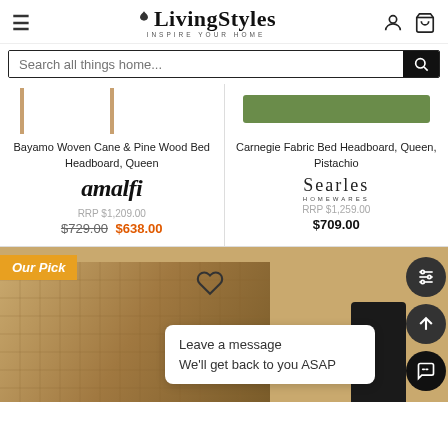[Figure (screenshot): LivingStyles website header with logo, hamburger menu, user icon, and cart icon]
Search all things home...
Bayamo Woven Cane & Pine Wood Bed Headboard, Queen
amalfi
RRP $1,209.00
$729.00 $638.00
Carnegie Fabric Bed Headboard, Queen, Pistachio
Searles Homewares
RRP $1,259.00
$709.00
Our Pick
Leave a message
We'll get back to you ASAP